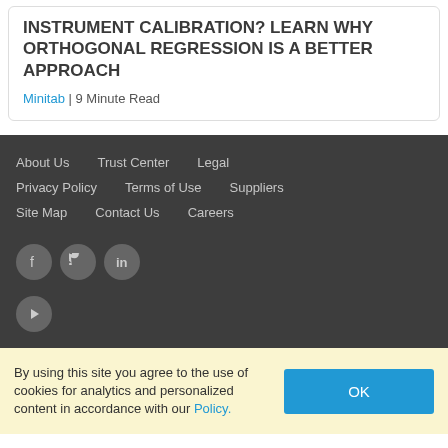INSTRUMENT CALIBRATION? LEARN WHY ORTHOGONAL REGRESSION IS A BETTER APPROACH
Minitab | 9 Minute Read
About Us
Trust Center
Legal
Privacy Policy
Terms of Use
Suppliers
Site Map
Contact Us
Careers
[Figure (other): Social media icons: Facebook, Twitter, LinkedIn, YouTube]
By using this site you agree to the use of cookies for analytics and personalized content in accordance with our Policy.